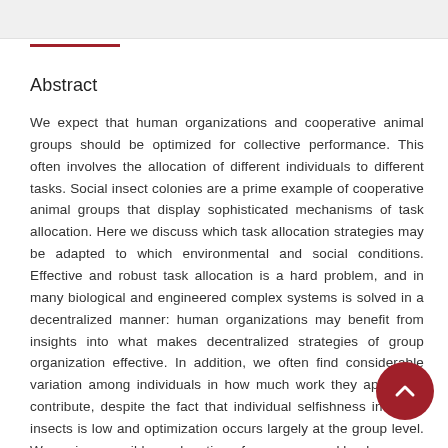Abstract
We expect that human organizations and cooperative animal groups should be optimized for collective performance. This often involves the allocation of different individuals to different tasks. Social insect colonies are a prime example of cooperative animal groups that display sophisticated mechanisms of task allocation. Here we discuss which task allocation strategies may be adapted to which environmental and social conditions. Effective and robust task allocation is a hard problem, and in many biological and engineered complex systems is solved in a decentralized manner: human organizations may benefit from insights into what makes decentralized strategies of group organization effective. In addition, we often find considerable variation among individuals in how much work they appear to contribute, despite the fact that individual selfishness in social insects is low and optimization occurs largely at the group level. We review possible explanations for uneven workloads among workers, including limitations on individual information collection